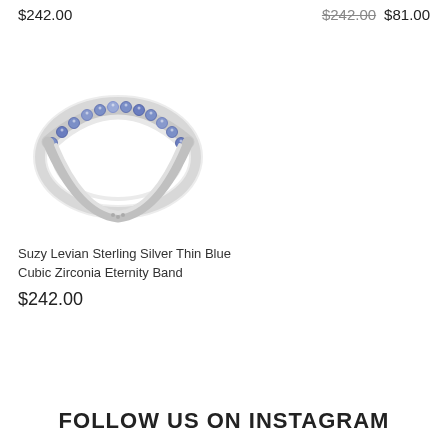$242.00
$242.00  $81.00
[Figure (photo): A sterling silver eternity band ring set with blue cubic zirconia stones arranged along the top arc of the ring, photographed on a white background.]
Suzy Levian Sterling Silver Thin Blue Cubic Zirconia Eternity Band
$242.00
FOLLOW US ON INSTAGRAM